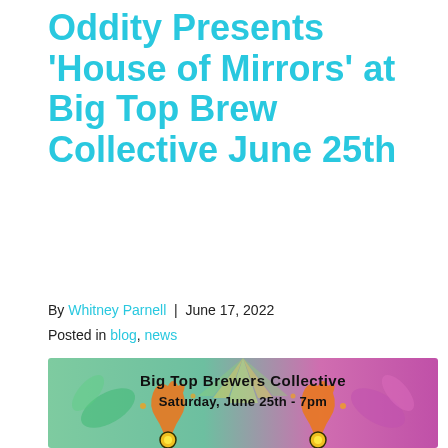Oddity Presents 'House of Mirrors' at Big Top Brew Collective June 25th
By Whitney Parnell | June 17, 2022
Posted in blog, news
[Figure (illustration): Event poster for Big Top Brewers Collective showing colorful psychedelic artwork with orange figures and decorative elements on a teal and purple background. Text reads 'Big Top Brewers Collective' and 'Saturday, June 25th - 7pm'.]